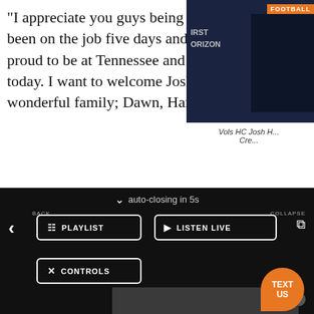“I appreciate you guys being here today. I think I’ve been on the job five days and it’s been a whirlwind. I’m proud to be at Tennessee and I’m really excited about today. I want to welcome Josh, and you will meet his wonderful family; Dawn, Hannah and Jace.
[Figure (screenshot): Thumbnail image showing a football broadcast with FOOTBALL label and FIRST HORIZON text, dark blue background]
Vols HC Josh H... Cre...
[Figure (screenshot): Radio player overlay UI on dark background showing auto-closing in 5s, BACK button with left arrow, PLAYLIST button, LISTEN LIVE button, CONTROLS button, COLLAPSE button, Data opt-out toggle, and a grey advertisement rectangle]
auto-closing in 5s
BACK
PLAYLIST
LISTEN LIVE
COLLAPSE
CONTROLS
Data opt-out
99.1
2:00 AM
99.1
The Sports Animal
MENU
TEXT US